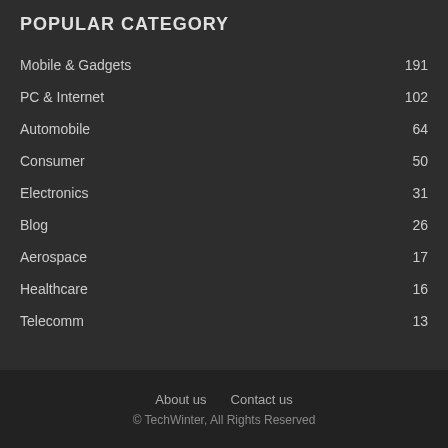POPULAR CATEGORY
Mobile & Gadgets 191
PC & Internet 102
Automobile 64
Consumer 50
Electronics 31
Blog 26
Aerospace 17
Healthcare 16
Telecomm 13
About us   Contact us
© TechWinter, All Rights Reserved